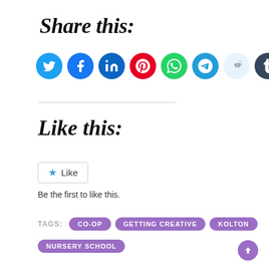Share this:
[Figure (illustration): Row of ten social media share icon circles: Twitter (blue), Facebook (blue), LinkedIn (blue), Pinterest (red), WhatsApp (green), Telegram (teal), Reddit (light blue/gray), Tumblr (dark navy), Skype (teal), Email (gray)]
Like this:
★ Like
Be the first to like this.
TAGS: CO-OP GETTING CREATIVE KOLTON NURSERY SCHOOL